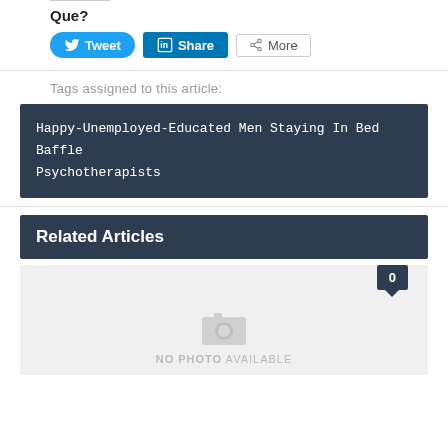Que?
[Figure (other): Social sharing buttons: Tweet (Twitter), Share (LinkedIn), More]
Tags assigned to this article:
Happy-Unemployed-Educated Men Staying In Bed Baffle Psychotherapists
Related Articles
[Figure (other): No photo available placeholder image with camera icon and comment badge showing 0]